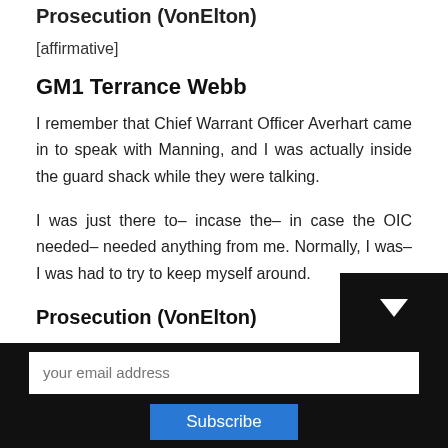Prosecution (VonElton)
[affirmative]
GM1 Terrance Webb
I remember that Chief Warrant Officer Averhart came in to speak with Manning, and I was actually inside the guard shack while they were talking.
I was just there to– incase the– in case the OIC needed– needed anything from me. Normally, I was– I was had to try to keep myself around.
Prosecution (VonElton)
Was it normal for you to be in the guard shack?